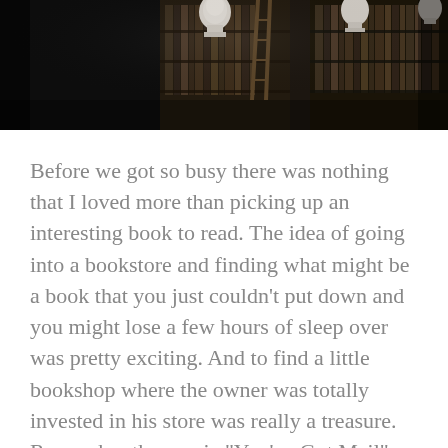[Figure (photo): A dark, atmospheric library interior with tall bookshelves filled with old books, white marble busts on pedestals, and a ladder visible. The scene is dimly lit with a dramatic, moody atmosphere.]
Before we got so busy there was nothing that I loved more than picking up an interesting book to read. The idea of going into a bookstore and finding what might be a book that you just couldn't put down and you might lose a few hours of sleep over was pretty exciting. And to find a little bookshop where the owner was totally invested in his store was really a treasure. Remember the movie "You've Got Mail" and the children's bookstore in it that Meg Ryan owned called "The Shop Around the